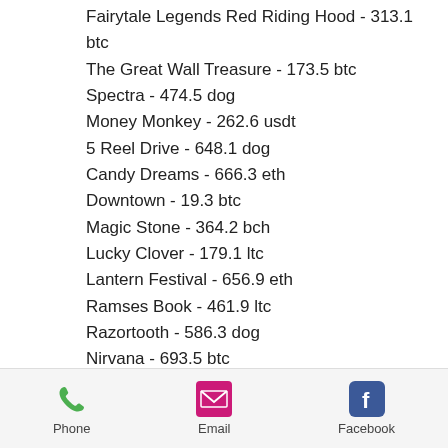Fairytale Legends Red Riding Hood - 313.1 btc
The Great Wall Treasure - 173.5 btc
Spectra - 474.5 dog
Money Monkey - 262.6 usdt
5 Reel Drive - 648.1 dog
Candy Dreams - 666.3 eth
Downtown - 19.3 btc
Magic Stone - 364.2 bch
Lucky Clover - 179.1 ltc
Lantern Festival - 656.9 eth
Ramses Book - 461.9 ltc
Razortooth - 586.3 dog
Nirvana - 693.5 btc
Booming Gold - 631.9 usdt
Best Slots Games:
BetChain Casino The Land of Heroes
Phone | Email | Facebook